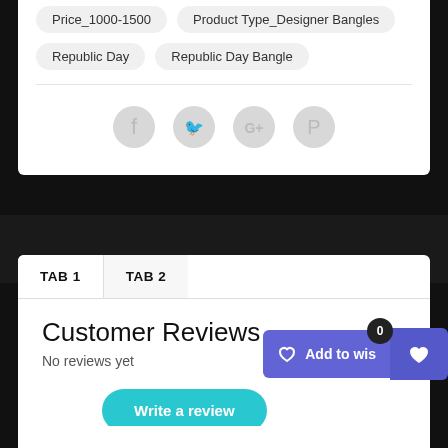Price_1000-1500
Product Type_Designer Bangles
Republic Day
Republic Day Bangle
[Figure (infographic): Social share icons: Facebook, Twitter, Google+, Pinterest — rendered as light grey circular icon buttons]
TAB 1
TAB 2
Customer Reviews
No reviews yet
Write a review
Add to wis
0